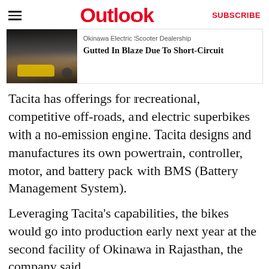Outlook | SUBSCRIBE
[Figure (photo): News card with a photo of a fire/smoke scene with a yellow vehicle, titled 'Okinawa Electric Scooter Dealership Gutted In Blaze Due To Short-Circuit']
Tacita has offerings for recreational, competitive off-roads, and electric superbikes with a no-emission engine. Tacita designs and manufactures its own powertrain, controller, motor, and battery pack with BMS (Battery Management System).
Leveraging Tacita's capabilities, the bikes would go into production early next year at the second facility of Okinawa in Rajasthan, the company said.
ADVERTISEMENT